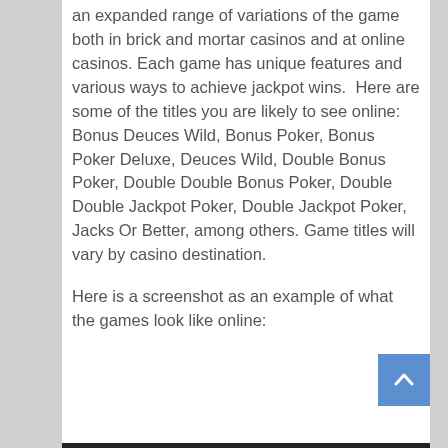an expanded range of variations of the game both in brick and mortar casinos and at online casinos. Each game has unique features and various ways to achieve jackpot wins.  Here are some of the titles you are likely to see online: Bonus Deuces Wild, Bonus Poker, Bonus Poker Deluxe, Deuces Wild, Double Bonus Poker, Double Double Bonus Poker, Double Double Jackpot Poker, Double Jackpot Poker, Jacks Or Better, among others. Game titles will vary by casino destination.
Here is a screenshot as an example of what the games look like online: